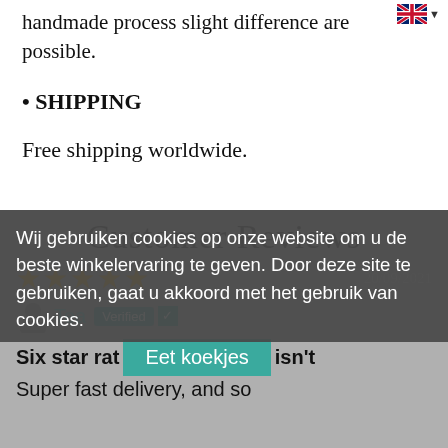handmade process slight difference are possible.
• SHIPPING
Free shipping worldwide.
Customer Reviews
Wij gebruiken cookies op onze website om u de beste winkelervaring te geven. Door deze site te gebruiken, gaat u akkoord met het gebruik van cookies.
★★★★★  20/09/2021
Tea  Verified
Six star rating isn't
Super fast delivery, and so